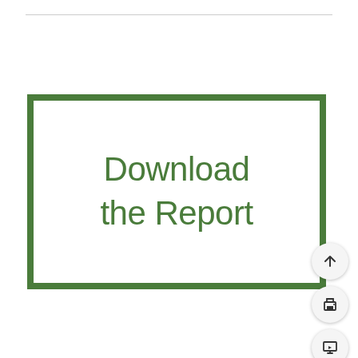[Figure (other): A large green-bordered rectangular button with the text 'Download the Report' in green, plus three circular UI control buttons on the right side (scroll-up arrow, print icon, presentation icon)]